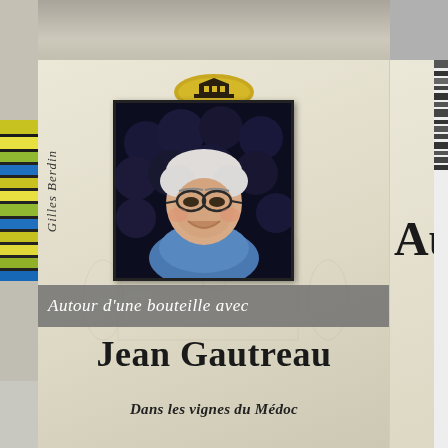[Figure (photo): Book cover photo showing a photograph of Jean Gautreau, an elderly smiling man with white hair and glasses wearing a blue shirt, set against a dark background with grape imagery. Publisher logo at top. Book displayed among other books.]
Gilles Berdin
Autour d'une bouteille avec
Jean Gautreau
Dans les vignes du Médoc